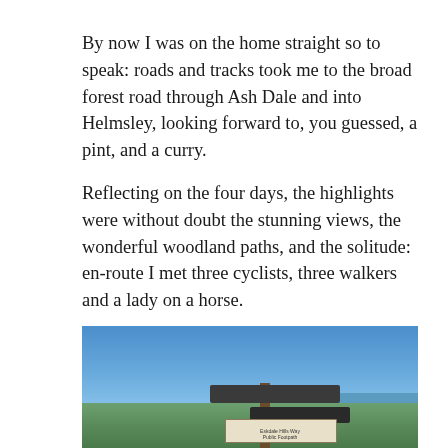By now I was on the home straight so to speak: roads and tracks took me to the broad forest road through Ash Dale and into Helmsley, looking forward to, you guessed, a pint, and a curry.
Reflecting on the four days, the highlights were without doubt the stunning views, the wonderful woodland paths, and the solitude:  en-route I met three cyclists, three walkers and a lady on a horse.
[Figure (photo): Outdoor photo showing a blue sky, coastal landscape with green hillside on the left, sea visible on the right, and a wooden signpost in the center-right with dark directional arms and a small white/cream label sign at the bottom.]